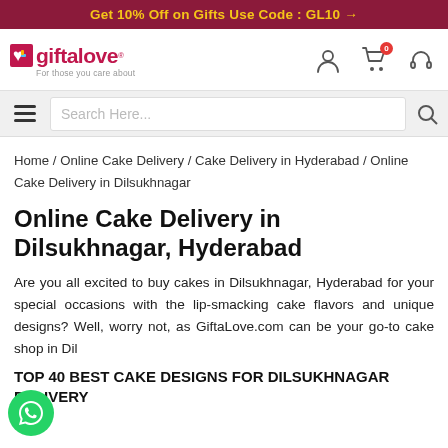Get 10% Off on Gifts Use Code : GL10 →
[Figure (logo): Giftalove logo with heart icon and tagline 'For those you care about']
Search Here...
Home / Online Cake Delivery / Cake Delivery in Hyderabad / Online Cake Delivery in Dilsukhnagar
Online Cake Delivery in Dilsukhnagar, Hyderabad
Are you all excited to buy cakes in Dilsukhnagar, Hyderabad for your special occasions with the lip-smacking cake flavors and unique designs? Well, worry not, as GiftaLove.com can be your go-to cake shop in Dilsukhnagar to order online for same day delivery in Dil
TOP 40 BEST CAKE DESIGNS FOR DILSUKHNAGAR DELIVERY